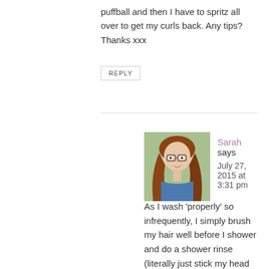puffball and then I have to spritz all over to get my curls back. Any tips? Thanks xxx
REPLY
[Figure (photo): Avatar photo of a woman with long curly red-brown hair wearing a blue shirt, outdoors with green background]
Sarah says
July 27, 2015 at 3:31 pm
As I wash ‘properly’ so infrequently, I simply brush my hair well before I shower and do a shower rinse (literally just stick my head under the water, no vinegar etc) to ‘re-set’ the curls.
REPLY